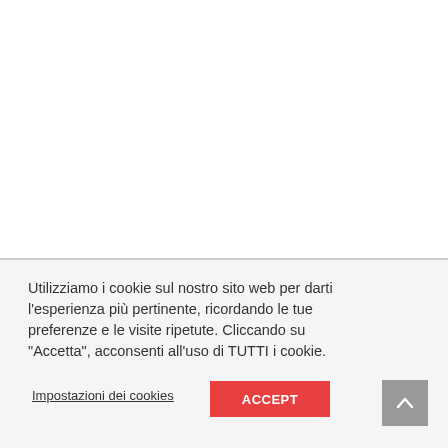Utilizziamo i cookie sul nostro sito web per darti l'esperienza più pertinente, ricordando le tue preferenze e le visite ripetute. Cliccando su "Accetta", acconsenti all'uso di TUTTI i cookie.
Impostazioni dei cookies
ACCEPT